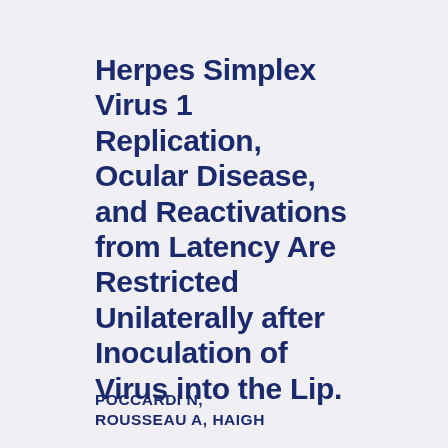Herpes Simplex Virus 1 Replication, Ocular Disease, and Reactivations from Latency Are Restricted Unilaterally after Inoculation of Virus into the Lip.
POCCARDI N, ROUSSEAU A, HAIGH